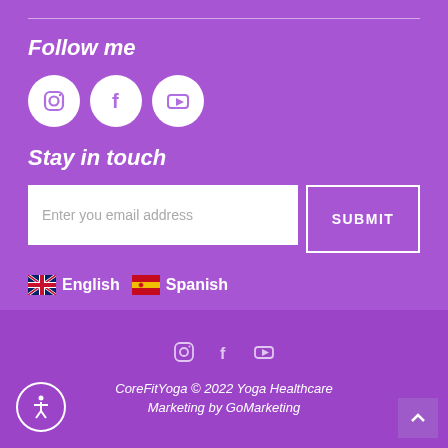Follow me
[Figure (illustration): Three white circular social media icons: Instagram camera icon, Facebook 'f' icon, YouTube play icon]
Stay in touch
Enter you email address
SUBMIT
🇬🇧 English  🇪🇸 Spanish
[Figure (illustration): Three small social media icons: Instagram, Facebook, YouTube in purple/white]
CoreFitYoga © 2022 Yoga Healthcare Marketing by GoMarketing